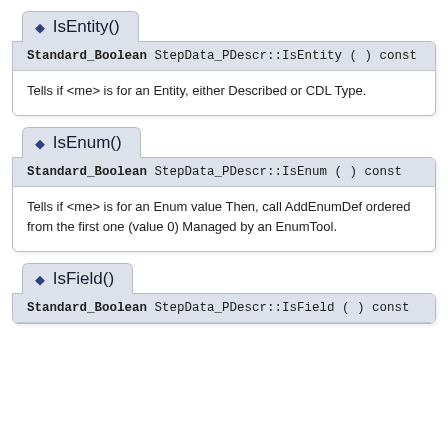IsEntity()
Standard_Boolean StepData_PDescr::IsEntity ( ) const
Tells if <me> is for an Entity, either Described or CDL Type.
IsEnum()
Standard_Boolean StepData_PDescr::IsEnum ( ) const
Tells if <me> is for an Enum value Then, call AddEnumDef ordered from the first one (value 0) Managed by an EnumTool.
IsField()
Standard_Boolean StepData_PDescr::IsField ( ) const